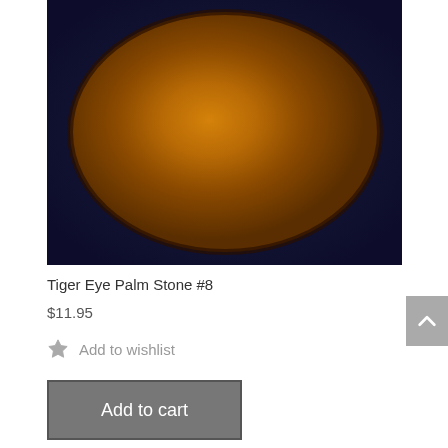[Figure (photo): Close-up photo of a Tiger Eye palm stone with golden-brown chatoyant bands on a dark blue velvet background]
Tiger Eye Palm Stone #8
$11.95
Add to wishlist
Add to cart